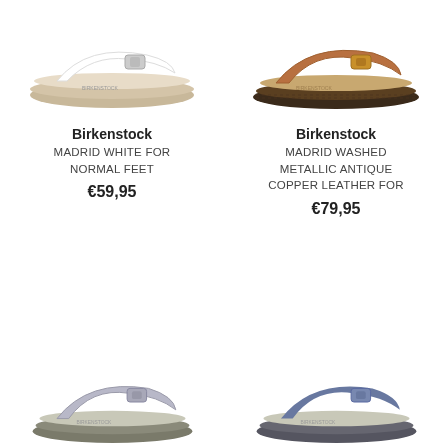[Figure (photo): Birkenstock Madrid white sandal for normal feet, single strap, cork sole]
Birkenstock
MADRID WHITE FOR NORMAL FEET
€59,95
[Figure (photo): Birkenstock Madrid washed metallic antique copper leather sandal, single strap, cork sole]
Birkenstock
MADRID WASHED METALLIC ANTIQUE COPPER LEATHER FOR
€79,95
[Figure (photo): Birkenstock Madrid silver/metallic sandal, partially visible at bottom]
[Figure (photo): Birkenstock Madrid blue/navy sandal, partially visible at bottom]